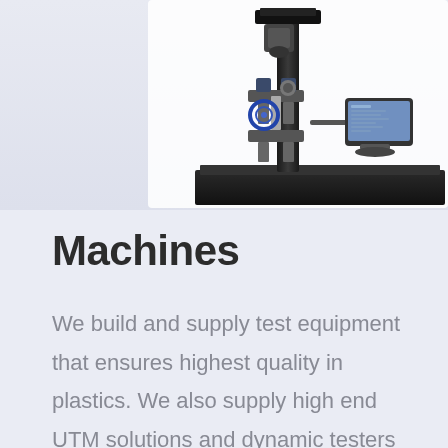[Figure (photo): A universal testing machine (UTM) on a black base platform with a vertical column, crosshead, grips, and an attached touchscreen display monitor. The machine is photographed against a white background.]
Machines
We build and supply test equipment that ensures highest quality in plastics. We also supply high end UTM solutions and dynamic testers is offered, applicable for plastics, texstiles, metals and various propterties that